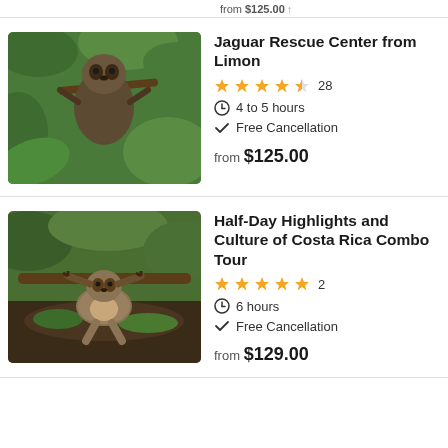from $125.00
Jaguar Rescue Center from Limon
★★★★½ 28 | 4 to 5 hours | Free Cancellation | from $125.00
Half-Day Highlights and Culture of Costa Rica Combo Tour
★★★★★ 2 | 6 hours | Free Cancellation | from $129.00